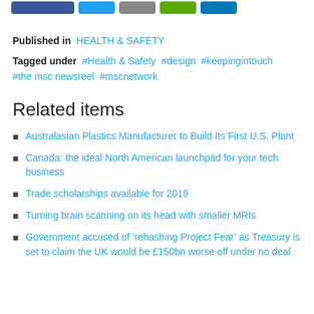[Figure (other): Row of social share buttons: Facebook (blue), Twitter (light blue), Google+ (gray), LinkedIn (green), Email (dark blue)]
Published in  HEALTH & SAFETY
Tagged under  #Health & Safety  #design  #keepingintouch  #the msc newsreel  #mscnetwork
Related items
Australasian Plastics Manufacturer to Build Its First U.S. Plant
Canada: the ideal North American launchpad for your tech business
Trade scholarships available for 2019
Turning brain scanning on its head with smaller MRIs
Government accused of 'rehashing Project Fear' as Treasury is set to claim the UK would be £150bn worse off under no deal